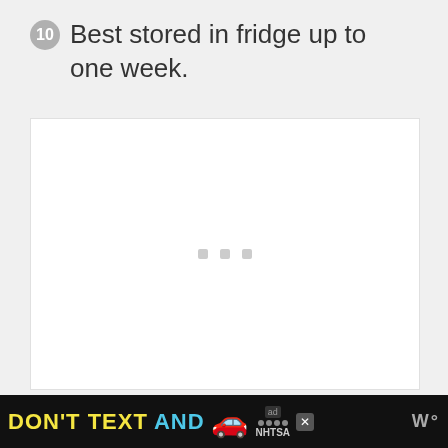10 Best stored in fridge up to one week.
[Figure (photo): White image placeholder with three gray loading dots in the center, representing an image still loading.]
[Figure (other): Advertisement banner: DON'T TEXT AND [car emoji] with NHTSA logo and ad badge on black background.]